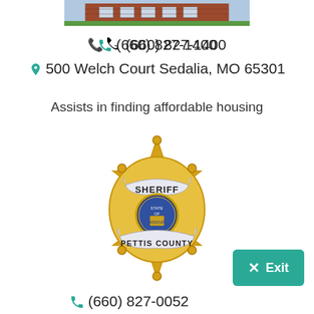[Figure (photo): Exterior photo of a brick building (partial view, top cropped)]
(660) 827-1400
500 Welch Court Sedalia, MO 65301
Assists in finding affordable housing
[Figure (logo): Pettis County Sheriff badge — gold star badge with Missouri state seal in center, 'SHERIFF' on top banner, 'PETTIS COUNTY' on bottom banner]
Exit
(660) 827-0052